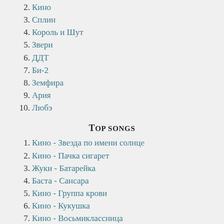2. Кино
3. Сплин
4. Король и Шут
5. Звери
6. ДДТ
7. Би-2
8. Земфира
9. Ария
10. Любэ
Top songs
1. Кино - Звезда по имени солнце
2. Кино - Пачка сигарет
3. Жуки - Батарейка
4. Баста - Сансара
5. Кино - Группа крови
6. Кино - Кукушка
7. Кино - Восьмиклассница
8. Гречка - Люби меня, люби
9. Сплин - Выхода нет